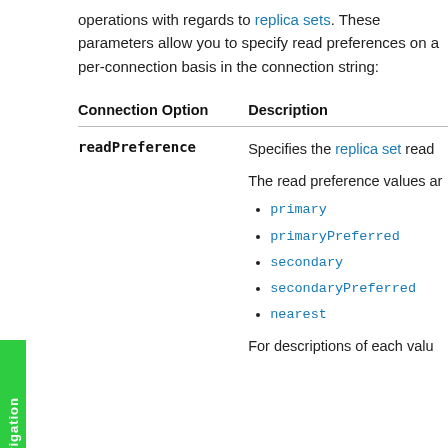operations with regards to replica sets. These parameters allow you to specify read preferences on a per-connection basis in the connection string:
| Connection Option | Description |
| --- | --- |
| readPreference | Specifies the replica set read...

The read preference values ar...

primary
primaryPreferred
secondary
secondaryPreferred
nearest

For descriptions of each valu... |
primary
primaryPreferred
secondary
secondaryPreferred
nearest
For descriptions of each valu...